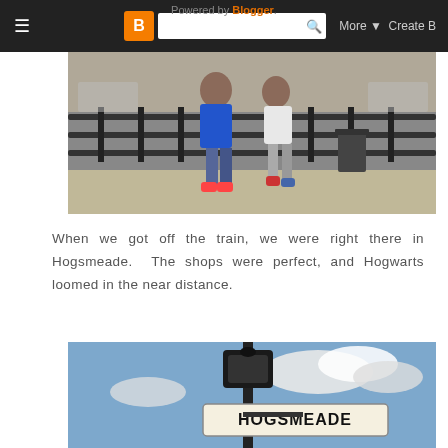Powered by Blogger.
[Figure (photo): Two people standing in front of a railed area with a train theme, likely at Universal Studios Hogsmeade area. They are wearing casual summer clothing and colorful sneakers.]
When we got off the train, we were right there in Hogsmeade.  The shops were perfect, and Hogwarts loomed in the near distance.
[Figure (photo): A street sign reading 'HOGSMEADE' on a black lamp post against a blue sky with clouds.]